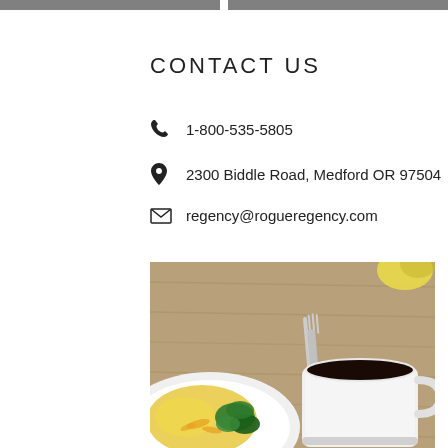CONTACT US
1-800-535-5805
2300 Biddle Road, Medford OR 97504
regency@rogueregency.com
[Figure (photo): Overhead view of a breakfast plate with eggs and greens, a fork, a white coffee mug filled with black coffee, and a lemon slice on a wooden surface]